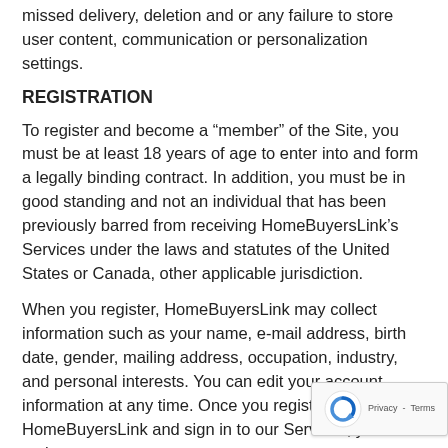missed delivery, deletion and or any failure to store user content, communication or personalization settings.
REGISTRATION
To register and become a “member” of the Site, you must be at least 18 years of age to enter into and form a legally binding contract. In addition, you must be in good standing and not an individual that has been previously barred from receiving HomeBuyersLink’s Services under the laws and statutes of the United States or Canada, other applicable jurisdiction.
When you register, HomeBuyersLink may collect information such as your name, e-mail address, birth date, gender, mailing address, occupation, industry, and personal interests. You can edit your account information at any time. Once you register with HomeBuyersLink and sign in to our Services, you are no longer anonymous to us.
Furthermore, the registering party hereby acknowledges